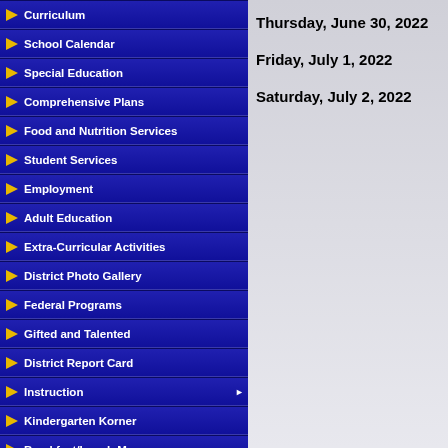Curriculum
School Calendar
Special Education
Comprehensive Plans
Food and Nutrition Services
Student Services
Employment
Adult Education
Extra-Curricular Activities
District Photo Gallery
Federal Programs
Gifted and Talented
District Report Card
Instruction
Kindergarten Korner
Breakfast/Lunch Menus
Thursday, June 30, 2022
Friday, July 1, 2022
Saturday, July 2, 2022